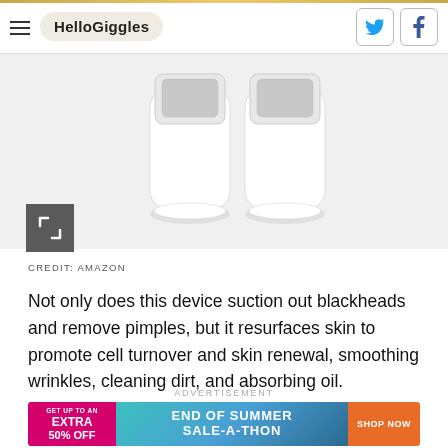HelloGiggles
[Figure (photo): Two white skincare/blackhead removal devices shown side by side on white background]
CREDIT: AMAZON
Not only does this device suction out blackheads and remove pimples, but it resurfaces skin to promote cell turnover and skin renewal, smoothing wrinkles, cleaning dirt, and absorbing oil.
ADVERTISEMENT
[Figure (infographic): Advertisement banner: GET UP TO AN EXTRA 50% OFF | END OF SUMMER SALE-A-THON | SHOP NOW]